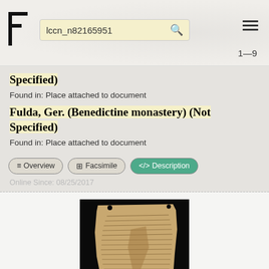lccn_n82165951  1–9
Specified)
Found in: Place attached to document
Fulda, Ger. (Benedictine monastery) (Not Specified)
Found in: Place attached to document
≡ Overview  ⊠ Facsimile  </> Description
Online Since: 08/25/2017
[Figure (photo): Photograph of an ancient manuscript fragment on black background, showing handwritten text on aged parchment]